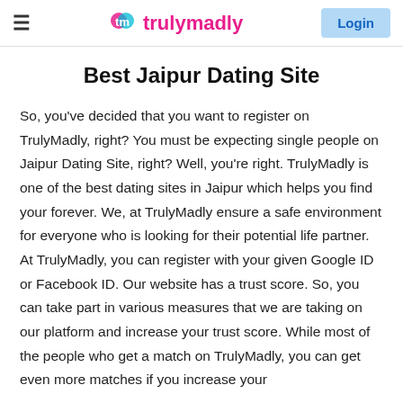≡  trulymadly  Login
Best Jaipur Dating Site
So, you've decided that you want to register on TrulyMadly, right? You must be expecting single people on Jaipur Dating Site, right? Well, you're right. TrulyMadly is one of the best dating sites in Jaipur which helps you find your forever. We, at TrulyMadly ensure a safe environment for everyone who is looking for their potential life partner. At TrulyMadly, you can register with your given Google ID or Facebook ID. Our website has a trust score. So, you can take part in various measures that we are taking on our platform and increase your trust score. While most of the people who get a match on TrulyMadly, you can get even more matches if you increase your trust score. TrulyMadly is one of the best dating...